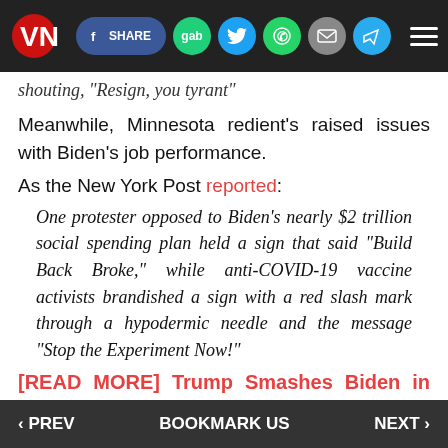VN logo with social share icons: SHARE, gab, Twitter, WhatsApp, email, Telegram, hamburger menu
shouting, "Resign, you tyrant"
Meanwhile, Minnesota redient's raised issues with Biden's job performance.
As the New York Post reported:
One protester opposed to Biden’s nearly $2 trillion social spending plan held a sign that said “Build Back Broke,” while anti-COVID-19 vaccine activists brandished a sign with a red slash mark through a hypodermic needle and the message “Stop the Experiment Now!”
[READ MORE] Trump Smashes Biden in Key Swing States in 2024 Match...
‹ PREV    BOOKMARK US    NEXT ›